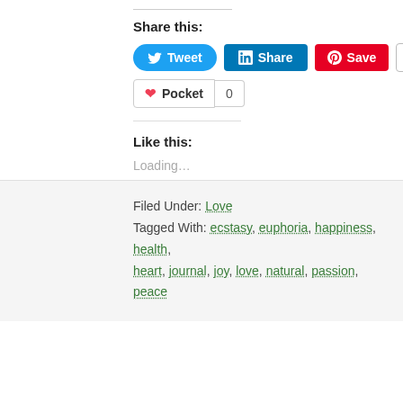Share this:
[Figure (screenshot): Social sharing buttons: Tweet (blue, Twitter icon), Share (blue, LinkedIn icon), Save (red, Pinterest icon), Email (white/grey, envelope icon), Pocket (white with heart icon) with count 0]
Like this:
Loading...
Filed Under: Love
Tagged With: ecstasy, euphoria, happiness, health, heart, journal, joy, love, natural, passion, peace